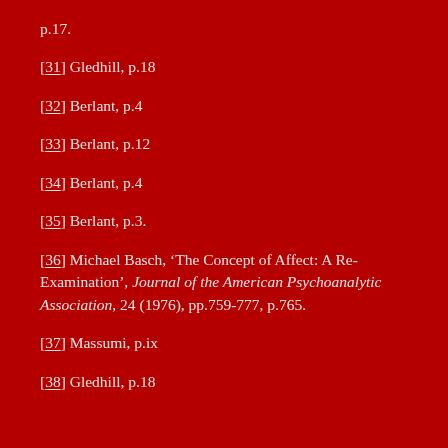p.17.
[31] Gledhill, p.18
[32] Berlant, p.4
[33] Berlant, p.12
[34] Berlant, p.4
[35] Berlant, p.3.
[36] Michael Basch, ‘The Concept of Affect: A Re-Examination’, Journal of the American Psychoanalytic Association, 24 (1976), pp.759-777, p.765.
[37] Massumi, p.ix
[38] Gledhill, p.18